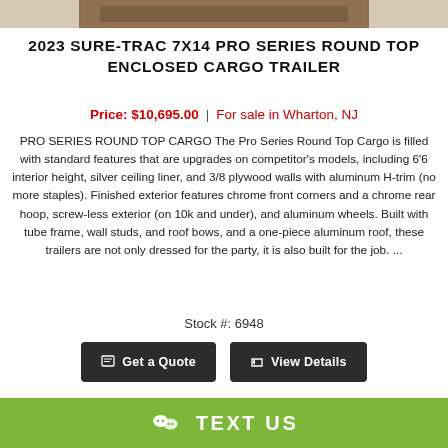[Figure (photo): Partial top of a trailer product photo, cropped at the top of the page]
2023 SURE-TRAC 7X14 PRO SERIES ROUND TOP ENCLOSED CARGO TRAILER
Price: $10,695.00 | For sale in Wharton, NJ
PRO SERIES ROUND TOP CARGO The Pro Series Round Top Cargo is filled with standard features that are upgrades on competitor's models, including 6'6 interior height, silver ceiling liner, and 3/8 plywood walls with aluminum H-trim (no more staples). Finished exterior features chrome front corners and a chrome rear hoop, screw-less exterior (on 10k and under), and aluminum wheels. Built with tube frame, wall studs, and roof bows, and a one-piece aluminum roof, these trailers are not only dressed for the party, it is also built for the job. ...
Stock #: 6948
Get a Quote
View Details
[Figure (photo): Partial bottom listing card with red badge, next product listing]
TEXT US